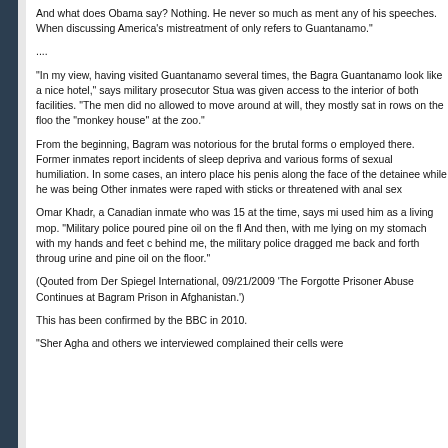And what does Obama say? Nothing. He never so much as ment any of his speeches. When discussing America's mistreatment of only refers to Guantanamo."
....
“In my view, having visited Guantanamo several times, the Bagra Guantanamo look like a nice hotel,” says military prosecutor Stua was given access to the interior of both facilities. “The men did no allowed to move around at will, they mostly sat in rows on the floo the “monkey house” at the zoo.”
From the beginning, Bagram was notorious for the brutal forms o employed there. Former inmates report incidents of sleep depriva and various forms of sexual humiliation. In some cases, an intero place his penis along the face of the detainee while he was being Other inmates were raped with sticks or threatened with anal sex
Omar Khadr, a Canadian inmate who was 15 at the time, says mi used him as a living mop. “Military police poured pine oil on the fl And then, with me lying on my stomach with my hands and feet c behind me, the military police dragged me back and forth throug urine and pine oil on the floor.”
(Qouted from Der Spiegel International, 09/21/2009 ‘The Forgotte Prisoner Abuse Continues at Bagram Prison in Afghanistan.’)
This has been confirmed by the BBC in 2010.
“Sher Agha and others we interviewed complained their cells were